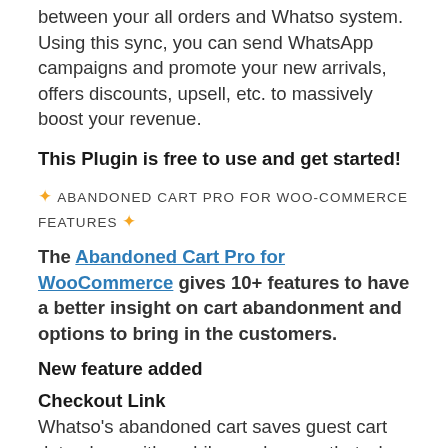between your all orders and Whatso system. Using this sync, you can send WhatsApp campaigns and promote your new arrivals, offers discounts, upsell, etc. to massively boost your revenue.
This Plugin is free to use and get started!
✨ ABANDONED CART PRO FOR WOO-COMMERCE FEATURES ✨
The Abandoned Cart Pro for WooCommerce gives 10+ features to have a better insight on cart abandonment and options to bring in the customers.
New feature added
Checkout Link
Whatso's abandoned cart saves guest cart data along with mobile numbers so that when a user